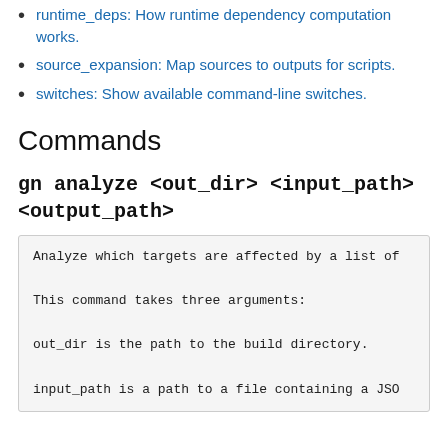runtime_deps: How runtime dependency computation works.
source_expansion: Map sources to outputs for scripts.
switches: Show available command-line switches.
Commands
gn analyze <out_dir> <input_path> <output_path>
Analyze which targets are affected by a list of

This command takes three arguments:

out_dir is the path to the build directory.

input_path is a path to a file containing a JSON